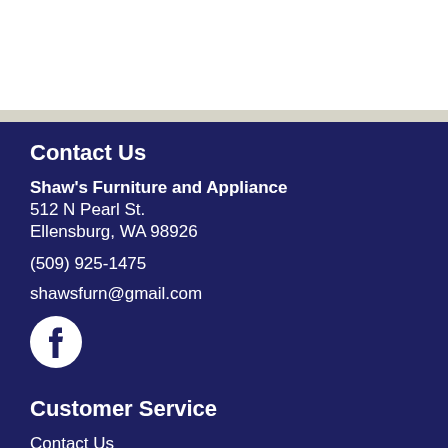Contact Us
Shaw's Furniture and Appliance
512 N Pearl St.
Ellensburg, WA 98926
(509) 925-1475
shawsfurn@gmail.com
[Figure (logo): Facebook icon circle logo in white on dark navy background]
Customer Service
Contact Us
My Account
Privacy Policy
Terms of Service